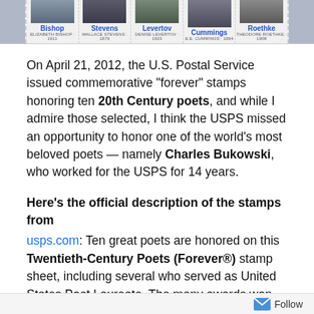[Figure (photo): Row of five U.S. commemorative postage stamps showing portraits of 20th Century poets: Bishop, Stevens, Levertov, Cummings, Roethke]
On April 21, 2012, the U.S. Postal Service issued commemorative “forever” stamps honoring ten 20th Century poets, and while I admire those selected, I think the USPS missed an opportunity to honor one of the world’s most beloved poets — namely Charles Bukowski, who worked for the USPS for 14 years.
Here’s the official description of the stamps from usps.com: Ten great poets are honored on this Twentieth-Century Poets (Forever®) stamp sheet, including several who served as United States Poet Laureate. The many awards won by this illustrious group — Elizabeth Bishop, Joseph Brodsky, Gwendolyn
Follow